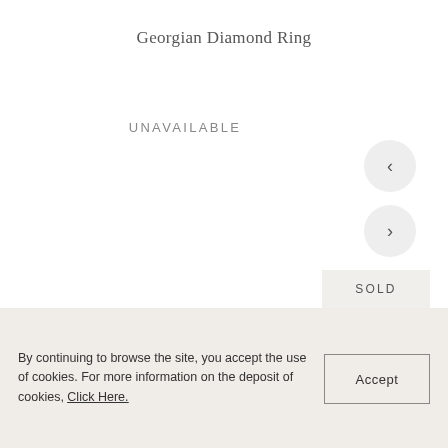Georgian Diamond Ring
UNAVAILABLE
[Figure (illustration): Navigation previous arrow button (circular grey button with left chevron)]
[Figure (illustration): Navigation next arrow button (circular grey button with right chevron)]
SOLD
[Figure (photo): Partial view of a Georgian diamond ring, appears to be a rectangular/hexagonal setting with pavé diamonds, silver/white gold colored, shown at bottom of page]
By continuing to browse the site, you accept the use of cookies. For more information on the deposit of cookies, Click Here.
Accept